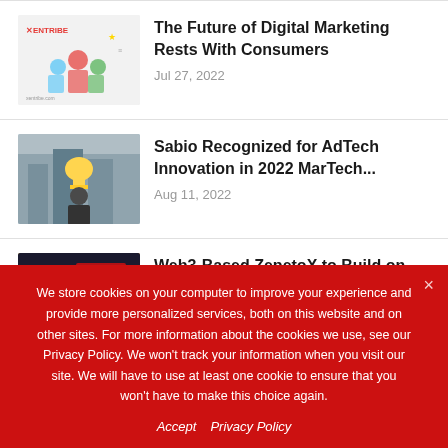[Figure (illustration): Thumbnail image with Xentribe logo and digital marketing illustration with people and icons]
The Future of Digital Marketing Rests With Consumers
Jul 27, 2022
[Figure (photo): Photo of person holding a trophy against city background]
Sabio Recognized for AdTech Innovation in 2022 MarTech...
Aug 11, 2022
[Figure (photo): Photo of person wearing VR headset with ZepetoX branding]
Web3-Based ZepetoX to Build on Solana
Aug 10, 2022
We store cookies on your computer to improve your experience and provide more personalized services, both on this website and on other sites. For more information about the cookies we use, see our Privacy Policy. We won't track your information when you visit our site. We will have to use at least one cookie to ensure that you won't have to make this choice again.
Accept   Privacy Policy